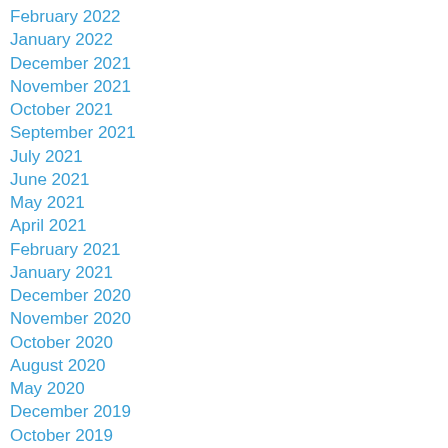February 2022
January 2022
December 2021
November 2021
October 2021
September 2021
July 2021
June 2021
May 2021
April 2021
February 2021
January 2021
December 2020
November 2020
October 2020
August 2020
May 2020
December 2019
October 2019
July 2019
May 2019